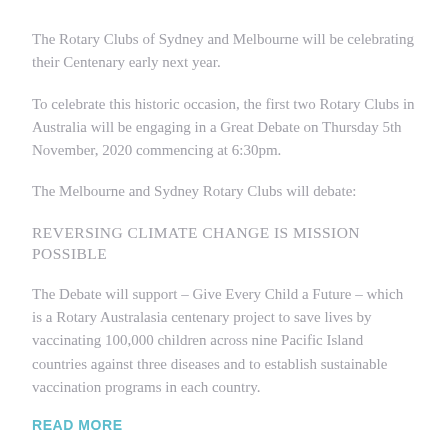The Rotary Clubs of Sydney and Melbourne will be celebrating their Centenary early next year.
To celebrate this historic occasion, the first two Rotary Clubs in Australia will be engaging in a Great Debate on Thursday 5th November, 2020 commencing at 6:30pm.
The Melbourne and Sydney Rotary Clubs will debate:
REVERSING CLIMATE CHANGE IS MISSION POSSIBLE
The Debate will support – Give Every Child a Future – which is a Rotary Australasia centenary project to save lives by vaccinating 100,000 children across nine Pacific Island countries against three diseases and to establish sustainable vaccination programs in each country.
READ MORE